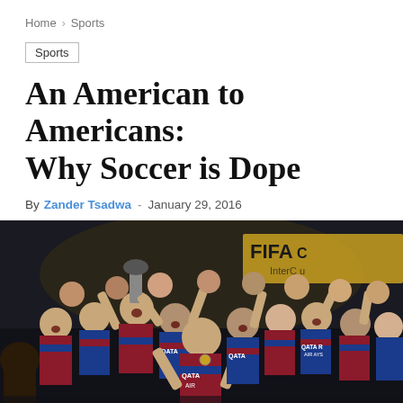Home > Sports
Sports
An American to Americans: Why Soccer is Dope
By Zander Tsadwa - January 29, 2016
[Figure (photo): FC Barcelona players celebrating with the FIFA Club World Cup trophy, wearing red and blue striped jerseys with Qatar Airways sponsorship. Players are cheering with arms raised, one player holding up the trophy. FIFA Club World Cup banner visible in background.]